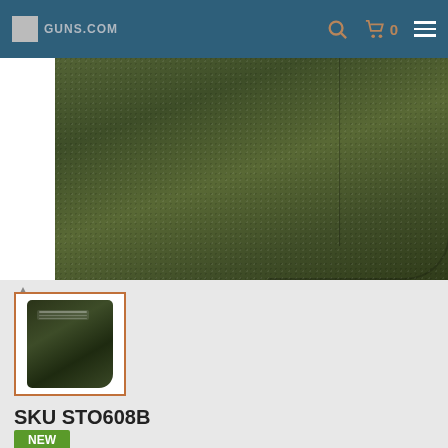GUNS.COM navigation bar with logo, search, cart (0), and menu
[Figure (photo): Close-up product photo of an olive/dark green suede or fabric holster showing textured surface with seam detail]
[Figure (photo): Thumbnail image of dark green gun holster product]
SKU STO608B
NEW
[Figure (other): Norton Shopping Guarantee badge with checkmark logo and 'verifying...' text]